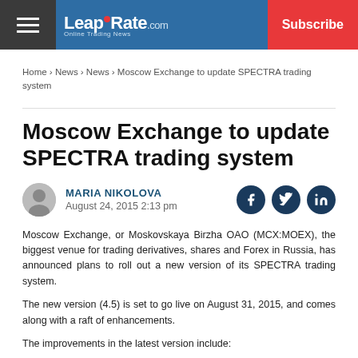LeapRate.com | Subscribe
Home › News › News › Moscow Exchange to update SPECTRA trading system
Moscow Exchange to update SPECTRA trading system
MARIA NIKOLOVA
August 24, 2015 2:13 pm
Moscow Exchange, or Moskovskaya Birzha OAO (MCX:MOEX), the biggest venue for trading derivatives, shares and Forex in Russia, has announced plans to roll out a new version of its SPECTRA trading system.
The new version (4.5) is set to go live on August 31, 2015, and comes along with a raft of enhancements.
The improvements in the latest version include:
Billing subsystem update: